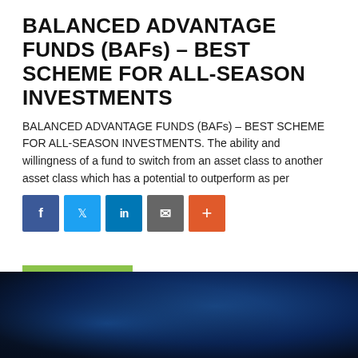BALANCED ADVANTAGE FUNDS (BAFs) – BEST SCHEME FOR ALL-SEASON INVESTMENTS
BALANCED ADVANTAGE FUNDS (BAFs) – BEST SCHEME FOR ALL-SEASON INVESTMENTS. The ability and willingness of a fund to switch from an asset class to another asset class which has a potential to outperform as per
[Figure (infographic): Social sharing buttons: Facebook (blue), Twitter (light blue), LinkedIn (dark blue), Email (grey), More/Plus (orange-red)]
[Figure (other): Green READ MORE button]
[Figure (photo): Dark blue gradient background image at the bottom of the page]